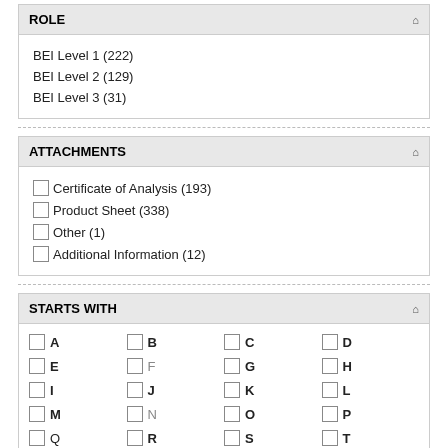ROLE
BEI Level 1 (222)
BEI Level 2 (129)
BEI Level 3 (31)
ATTACHMENTS
Certificate of Analysis (193)
Product Sheet (338)
Other (1)
Additional Information (12)
STARTS WITH
A
B
C
D
E
F
G
H
I
J
K
L
M
N
O
P
Q
R
S
T
U
V
W
X
Y
Z
0-9